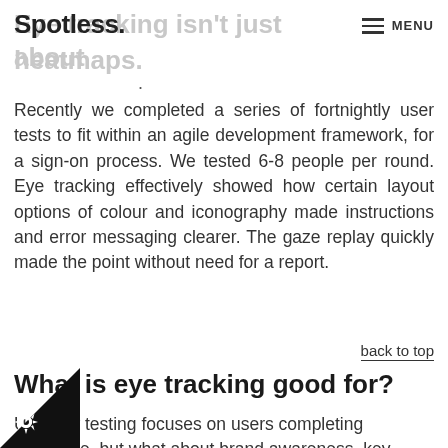Spotless.
Eye tracking isn't just about heatmaps.
Recently we completed a series of fortnightly user tests to fit within an agile development framework, for a sign-on process. We tested 6-8 people per round. Eye tracking effectively showed how certain layout options of colour and iconography made instructions and error messaging clearer. The gaze replay quickly made the point without need for a report.
back to top
What is eye tracking good for?
Usability testing focuses on users completing tasks. Fine, but what about brand awareness, key age positioning, and the users awareness of